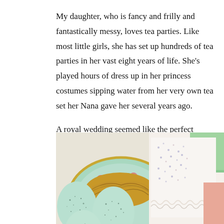My daughter, who is fancy and frilly and fantastically messy, loves tea parties. Like most little girls, she has set up hundreds of tea parties in her vast eight years of life. She's played hours of dress up in her princess costumes sipping water from her very own tea set her Nana gave her several years ago.
A royal wedding seemed like the perfect opportunity for Grandmother's tea set to make an appearance. Grandmother with all her fairytale dreams would have loved a royal wedding tea party.
[Figure (photo): Photo showing light blue speckled eggs in a straw nest on a floral china plate on the left, and folded white fabric with small floral print pattern and ruffled edge on the right, with green fabric visible in the upper right corner.]